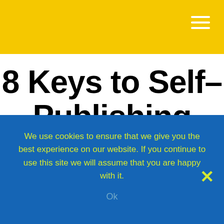8 Keys to Self-Publishing Success
We use cookies to ensure that we give you the best experience on our website. If you continue to use this site we will assume that you are happy with it.
Ok